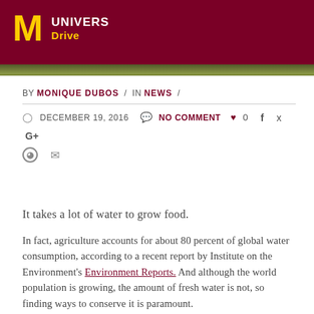[Figure (logo): University of Minnesota logo banner with maroon background, gold M logo, and text 'UNIVERS' and 'Drive']
BY MONIQUE DUBOS / IN NEWS /
DECEMBER 19, 2016  NO COMMENT  0  f  y  G+  Pinterest  Mail
It takes a lot of water to grow food.
In fact, agriculture accounts for about 80 percent of global water consumption, according to a recent report by Institute on the Environment's Environment Reports. And although the world population is growing, the amount of fresh water is not, so finding ways to conserve it is paramount.